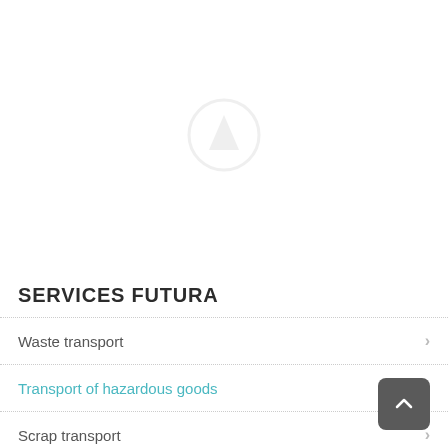[Figure (logo): Faint circular logo or icon in the upper center area of the page]
SERVICES FUTURA
Waste transport
Transport of hazardous goods
Scrap transport